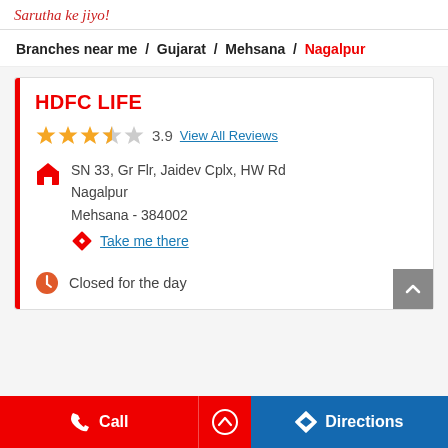Sarutha ke jiyo!
Branches near me / Gujarat / Mehsana / Nagalpur
HDFC LIFE
3.9  View All Reviews
SN 33, Gr Flr, Jaidev Cplx, HW Rd Nagalpur
Mehsana - 384002
Take me there
Closed for the day
Call  Directions